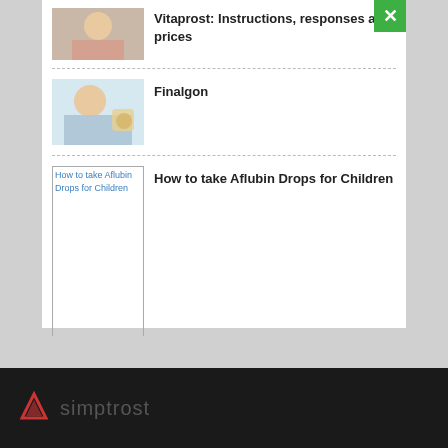Vitaprost: Instructions, responses and prices
Finalgon
How to take Aflubin Drops for Children
simptrost